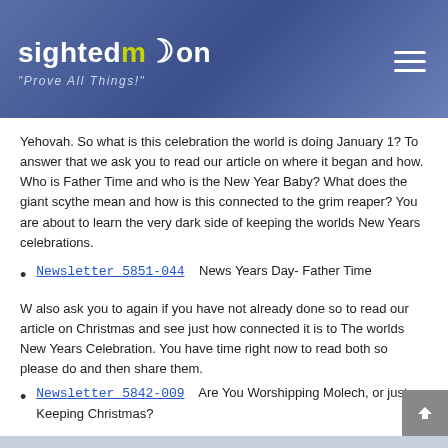sightedmoon "Prove All Things!"
Yehovah. So what is this celebration the world is doing January 1? To answer that we ask you to read our article on where it began and how. Who is Father Time and who is the New Year Baby? What does the giant scythe mean and how is this connected to the grim reaper? You are about to learn the very dark side of keeping the worlds New Years celebrations.
Newsletter 5851-044    News Years Day- Father Time
W also ask you to again if you have not already done so to read our article on Christmas and see just how connected it is to The worlds New Years Celebration. You have time right now to read both so please do and then share them.
Newsletter 5842-009    Are You Worshipping Molech, or just Keeping Christmas?